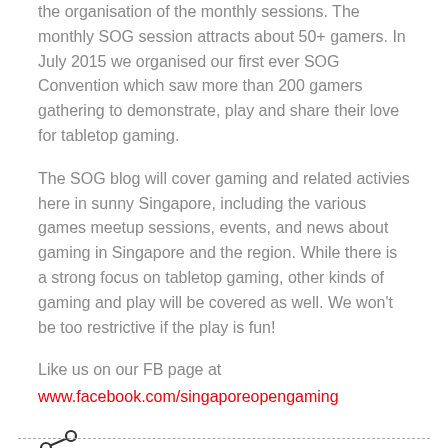the organisation of the monthly sessions. The monthly SOG session attracts about 50+ gamers. In July 2015 we organised our first ever SOG Convention which saw more than 200 gamers gathering to demonstrate, play and share their love for tabletop gaming.
The SOG blog will cover gaming and related activies here in sunny Singapore, including the various games meetup sessions, events, and news about gaming in Singapore and the region. While there is a strong focus on tabletop gaming, other kinds of gaming and play will be covered as well. We won't be too restrictive if the play is fun!
Like us on our FB page at
www.facebook.com/singaporeopengaming
[Figure (other): Share icon (less-than symbol styled as a social share button)]
- - - - - - - - - - - - - - - - - - - - - - - - - - - - - - - - - - - - - - -